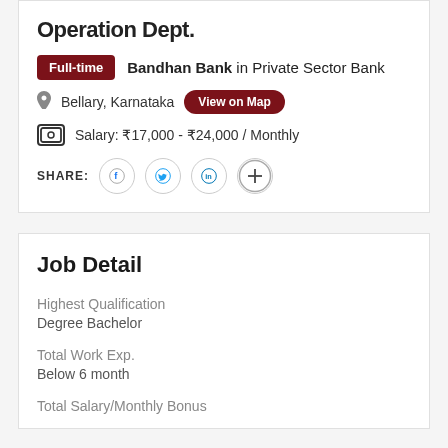Operation Dept.
Full-time  Bandhan Bank in Private Sector Bank
Bellary, Karnataka  View on Map
Salary: ₹17,000 - ₹24,000 / Monthly
SHARE:
Job Detail
Highest Qualification
Degree Bachelor
Total Work Exp.
Below 6 month
Total Salary/Monthly Bonus